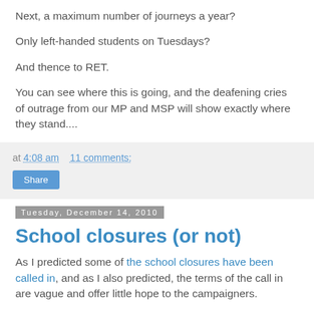Next, a maximum number of journeys a year?
Only left-handed students on Tuesdays?
And thence to RET.
You can see where this is going, and the deafening cries of outrage from our MP and MSP will show exactly where they stand....
at 4:08 am   11 comments:
Share
Tuesday, December 14, 2010
School closures (or not)
As I predicted some of the school closures have been called in, and as I also predicted, the terms of the call in are vague and offer little hope to the campaigners.